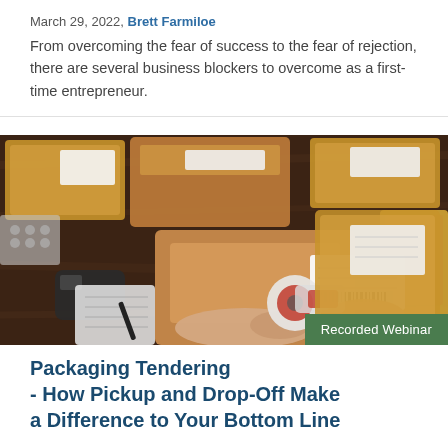March 29, 2022, Brett Farmiloe
From overcoming the fear of success to the fear of rejection, there are several business blockers to overcome as a first-time entrepreneur.
[Figure (photo): Overhead view of a person's hands holding a cardboard shipping box with a label, surrounded by various padded envelopes, boxes, bubble wrap, a barcode scanner, a notebook, and a tape dispenser on a dark wooden surface.]
Recorded Webinar
Packaging Tendering - How Pickup and Drop-Off Make a Difference to Your Bottom Line